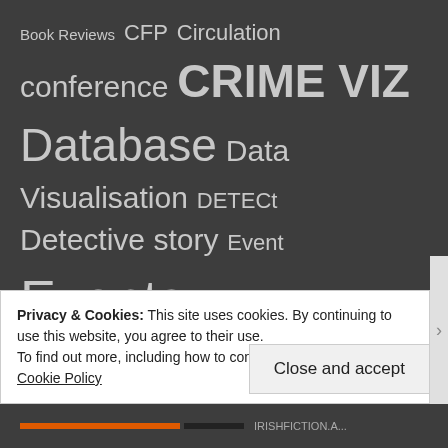[Figure (infographic): Tag cloud on dark background showing: Book Reviews, CFP, Circulation, conference, CRIME VIZ, Database, Data Visualisation, DETECt, Detective story, Event, Events, France, ICRH, Illustrations, Interview, Irish, Crime Fiction, Irish Noir]
Privacy & Cookies: This site uses cookies. By continuing to use this website, you agree to their use.
To find out more, including how to control cookies, see here: Cookie Policy
Close and accept